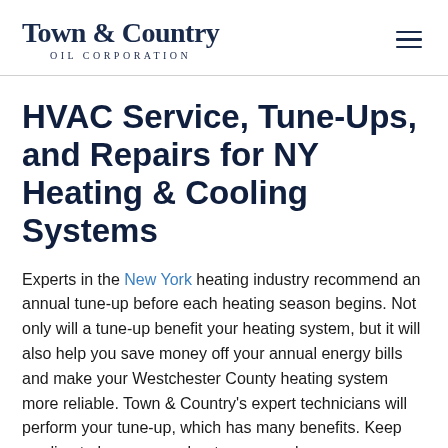Town & Country OIL CORPORATION
HVAC Service, Tune-Ups, and Repairs for NY Heating & Cooling Systems
Experts in the New York heating industry recommend an annual tune-up before each heating season begins. Not only will a tune-up benefit your heating system, but it will also help you save money off your annual energy bills and make your Westchester County heating system more reliable. Town & Country's expert technicians will perform your tune-up, which has many benefits. Keep reading to learn more about our annual